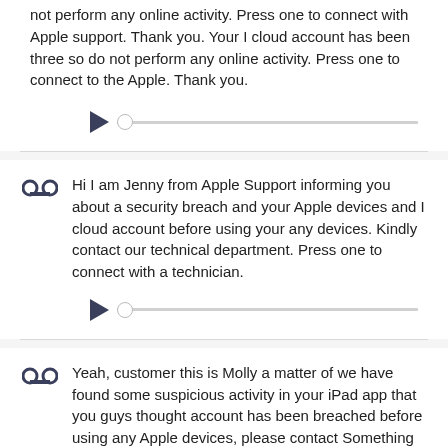not perform any online activity. Press one to connect with Apple support. Thank you. Your I cloud account has been three so do not perform any online activity. Press one to connect to the Apple. Thank you.
[Figure (other): Audio playback control with play button triangle and progress bar with circle handle]
Hi I am Jenny from Apple Support informing you about a security breach and your Apple devices and I cloud account before using your any devices. Kindly contact our technical department. Press one to connect with a technician.
[Figure (other): Audio playback control with play button triangle and progress bar with circle handle]
Yeah, customer this is Molly a matter of we have found some suspicious activity in your iPad app that you guys thought account has been breached before using any Apple devices, please contact Something via connect to connect with